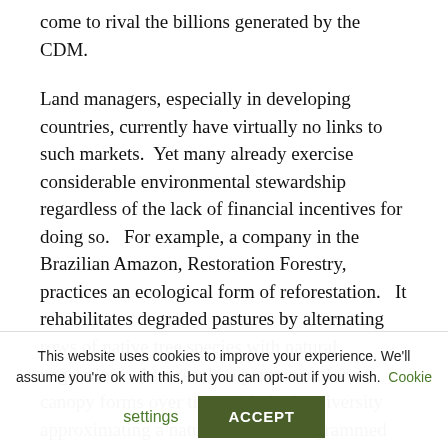come to rival the billions generated by the CDM.
Land managers, especially in developing countries, currently have virtually no links to such markets.  Yet many already exercise considerable environmental stewardship regardless of the lack of financial incentives for doing so.   For example, a company in the Brazilian Amazon, Restoration Forestry, practices an ecological form of reforestation.   It rehabilitates degraded pastures by alternating rows of native tree species with natural vegetation.   As a result, a permanent forest canopy forms over time with the biodiversity approximating a natural forest.   Programmed
This website uses cookies to improve your experience. We'll assume you're ok with this, but you can opt-out if you wish.  Cookie settings  ACCEPT